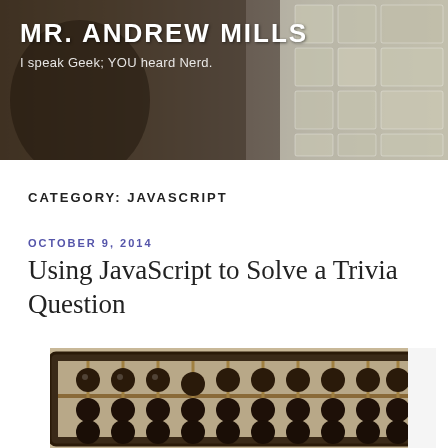MR. ANDREW MILLS
I speak Geek; YOU heard Nerd.
CATEGORY: JAVASCRIPT
OCTOBER 9, 2014
Using JavaScript to Solve a Trivia Question
[Figure (photo): Close-up photograph of a wooden abacus with dark brown/black beads on bamboo rods, the frame partially visible, photographed from a slight angle.]